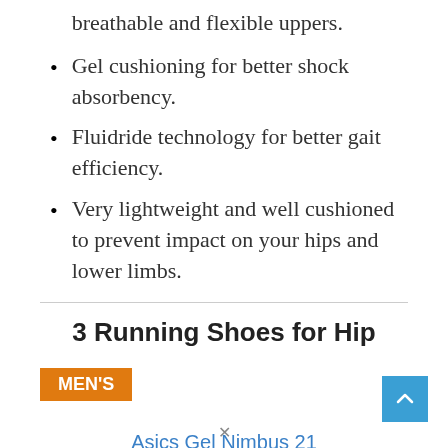breathable and flexible uppers.
Gel cushioning for better shock absorbency.
Fluidride technology for better gait efficiency.
Very lightweight and well cushioned to prevent impact on your hips and lower limbs.
3 Running Shoes for Hip
MEN'S
Asics Gel Nimbus 21